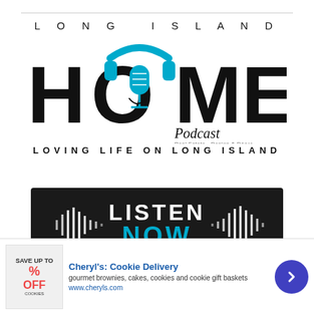[Figure (logo): Long Island HOME Podcast logo with blue headphones/microphone graphic. Text reads LONG ISLAND HOME Podcast Real Estate · Design & Décor. LOVING LIFE ON LONG ISLAND tagline below.]
[Figure (infographic): Dark banner button with waveform graphics on both sides and text LISTEN NOW in white and blue]
Cheryl's: Cookie Delivery
gourmet brownies, cakes, cookies and cookie gift baskets
www.cheryls.com